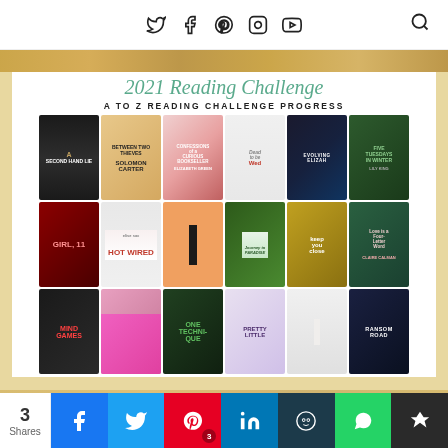Social media navigation icons (Twitter, Facebook, Pinterest, Instagram, YouTube) and search icon
[Figure (infographic): 2021 Reading Challenge - A to Z Reading Challenge Progress. Shows book covers arranged in a grid for letters A through R, including: A Second Hand Lie, Between Two Thieves, Confessions of a Curious Bookseller, Dead to Wed, Evolving Elizah, Five Tuesdays in Winter, Girl 11, Hot Wired, I (plain orange cover), Journey to Paradise, Keep You Close, Love is a Four-Letter Word, Mind Games, N (pink cover), One Technique, Pretty Little, Q (plain), Ransom Road]
3 Shares - Facebook, Twitter, Pinterest, LinkedIn, Hootsuite, WhatsApp, Monarch share buttons